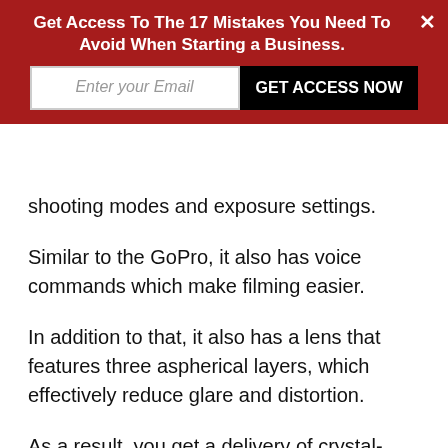Get Access To The 17 Mistakes You Need To Avoid When Starting a Business.
shooting modes and exposure settings.
Similar to the GoPro, it also has voice commands which make filming easier.
In addition to that, it also has a lens that features three aspherical layers, which effectively reduce glare and distortion.
As a result, you get a delivery of crystal-clear images even in direct sunlight.